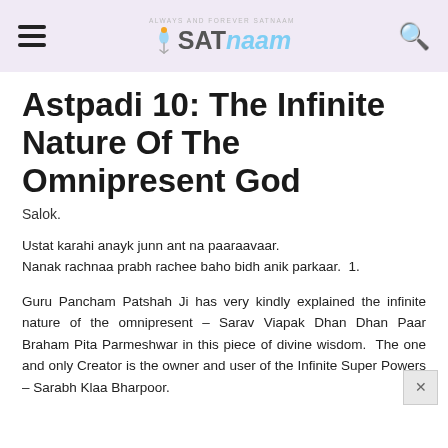ALWAYS AND FOREVER SATNAAM — SATNAAM (logo with hamburger menu and search icon)
Astpadi 10: The Infinite Nature Of The Omnipresent God
Salok.
Ustat karahi anayk junn ant na paaraavaar.
Nanak rachnaa prabh rachee baho bidh anik parkaar.  1.
Guru Pancham Patshah Ji has very kindly explained the infinite nature of the omnipresent – Sarav Viapak Dhan Dhan Paar Braham Pita Parmeshwar in this piece of divine wisdom.  The one and only Creator is the owner and user of the Infinite Super Powers – Sarabh Klaa Bharpoor.